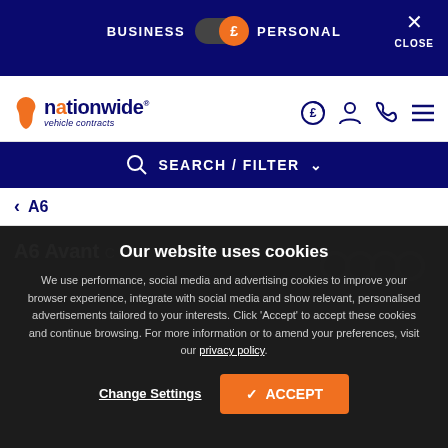BUSINESS / PERSONAL toggle — CLOSE
[Figure (logo): Nationwide Vehicle Contracts logo with UK map icon]
SEARCH / FILTER
< A6
A6 Avant
Our website uses cookies
We use performance, social media and advertising cookies to improve your browser experience, integrate with social media and show relevant, personalised advertisements tailored to your interests. Click 'Accept' to accept these cookies and continue browsing. For more information or to amend your preferences, visit our privacy policy.
Change Settings
ACCEPT